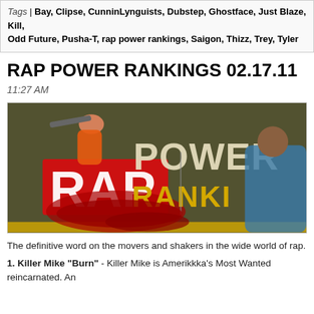Tags | Bay, Clipse, CunninLynguists, Dubstep, Ghostface, Just Blaze, Kill, Odd Future, Pusha-T, rap power rankings, Saigon, Thizz, Trey, Tyler
RAP POWER RANKINGS 02.17.11
11:27 AM
[Figure (photo): Rap Power Rankings banner image showing a woman in orange posing with a gun, large red RAP text with graffiti-style lettering, POWER RANKINGS text in yellow/gold on dark background, and a man in a blue hoodie crouching on the right side.]
The definitive word on the movers and shakers in the wide world of rap.
1. Killer Mike "Burn" - Killer Mike is Amerikkka's Most Wanted reincarnated. An